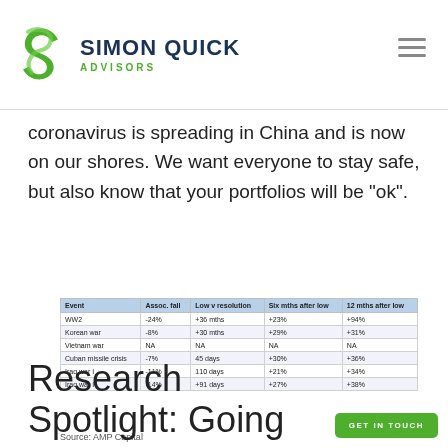Simon Quick Advisors
coronavirus is spreading in China and is now on our shores. We want everyone to stay safe, but also know that your portfolios will be “ok”.
| Event | Assoc. fall | Low v resolution | Six mths after low | 12 mths after low |
| --- | --- | --- | --- | --- |
| WW2 | -24% | +36 mths | +23% | +94% |
| Korean war | -8% | +30 mths | +29% | +31% |
| Vietnam war | NA | NA | NA | NA |
| Cuban missile crisis | -7% | 45 days | +30% | +36% |
| Iraq war I | -11% | 110 days | +21% | +34% |
| Iraq war II | -14% | +91 days | +27% | +38% |
Source: AMP Capital
Research Spotlight: Going Green